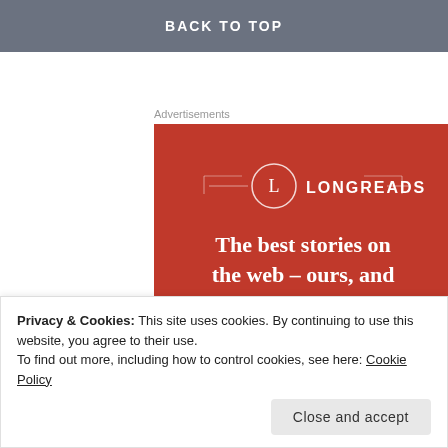BACK TO TOP
Advertisements
[Figure (illustration): Longreads advertisement banner with red background, circular logo with 'L', text 'The best stories on the web – ours, and everyone else's.' and 'Start reading' button]
Privacy & Cookies: This site uses cookies. By continuing to use this website, you agree to their use.
To find out more, including how to control cookies, see here: Cookie Policy
Close and accept
there for a while!. Amazing, good rack.